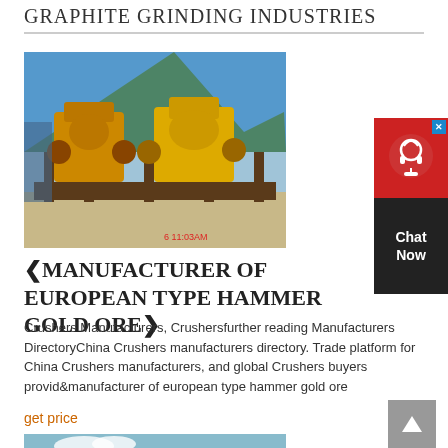GRAPHITE GRINDING INDUSTRIES
[Figure (photo): Mining crusher equipment — large yellow hammer crusher machines on a steel frame platform outdoors, with mountainous terrain in background. Timestamp visible: 6 11:03AM]
❮MANUFACTURER OF EUROPEAN TYPE HAMMER GOLD ORE❯
Crushers Manufacturers, Crushersfurther reading Manufacturers DirectoryChina Crushers manufacturers directory. Trade platform for China Crushers manufacturers, and global Crushers buyers provid&manufacturer of european type hammer gold ore
get price
[Figure (photo): Partial view of industrial mining or crushing equipment, blue/teal colored machinery]